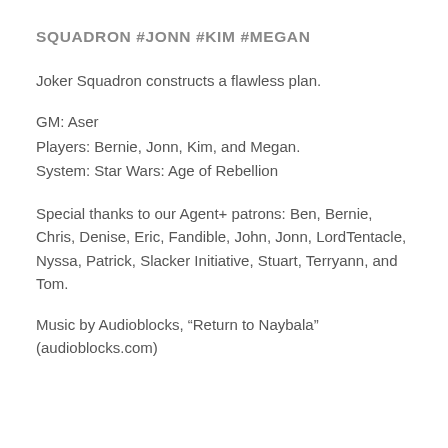SQUADRON #JONN #KIM #MEGAN
Joker Squadron constructs a flawless plan.
GM: Aser
Players: Bernie, Jonn, Kim, and Megan.
System: Star Wars: Age of Rebellion
Special thanks to our Agent+ patrons: Ben, Bernie, Chris, Denise, Eric, Fandible, John, Jonn, LordTentacle, Nyssa, Patrick, Slacker Initiative, Stuart, Terryann, and Tom.
Music by Audioblocks, “Return to Naybala” (audioblocks.com)